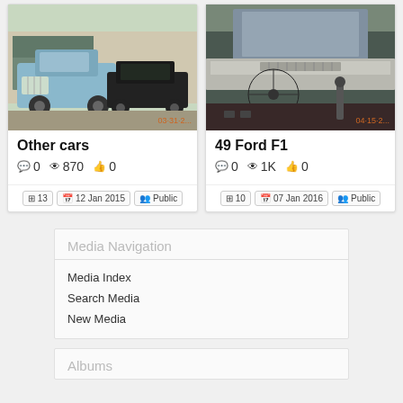[Figure (photo): Vintage light blue truck and black classic car parked outside a house in a driveway]
Other cars
0  870  0
13  12 Jan 2015  Public
[Figure (photo): Interior dashboard and steering wheel of a vintage Ford F1 truck, showing chrome details and worn interior]
49 Ford F1
0  1K  0
10  07 Jan 2016  Public
Media Navigation
Media Index
Search Media
New Media
Albums